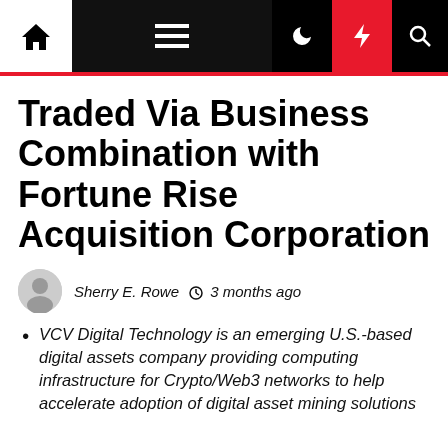Navigation bar with home, menu, moon, bolt, and search icons
Traded Via Business Combination with Fortune Rise Acquisition Corporation
Sherry E. Rowe  3 months ago
VCV Digital Technology is an emerging U.S.-based digital assets company providing computing infrastructure for Crypto/Web3 networks to help accelerate adoption of digital asset mining solutions